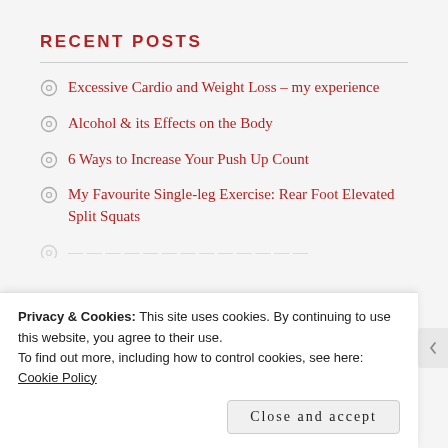RECENT POSTS
Excessive Cardio and Weight Loss – my experience
Alcohol & its Effects on the Body
6 Ways to Increase Your Push Up Count
My Favourite Single-leg Exercise: Rear Foot Elevated Split Squats
Privacy & Cookies: This site uses cookies. By continuing to use this website, you agree to their use.
To find out more, including how to control cookies, see here: Cookie Policy
Close and accept